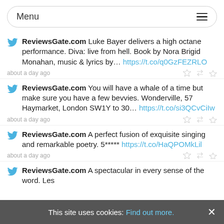[Figure (screenshot): Menu bar with hamburger icon]
ReviewsGate.com Luke Bayer delivers a high octane performance. Diva: live from hell. Book by Nora Brigid Monahan, music & lyrics by… https://t.co/q0GzFEZRLO
about a day ago
ReviewsGate.com You will have a whale of a time but make sure you have a few bevvies. Wonderville, 57 Haymarket, London SW1Y to 30… https://t.co/si3QCvCiIw
about a day ago
ReviewsGate.com A perfect fusion of exquisite singing and remarkable poetry. 5***** https://t.co/HaQPOMkLil
about a day ago
ReviewsGate.com A spectacular in every sense of the word. Les
This site uses cookies: Find out more.